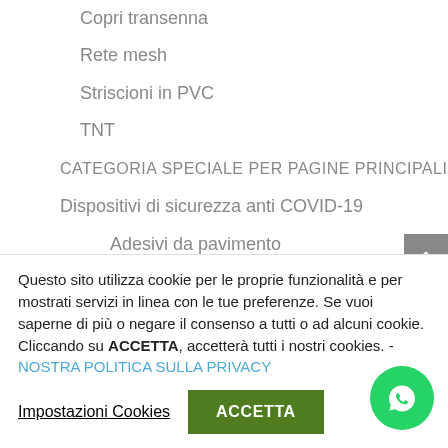Copri transenna
Rete mesh
Striscioni in PVC
TNT
CATEGORIA SPECIALE PER PAGINE PRINCIPALI
Dispositivi di sicurezza anti COVID-19
Adesivi da pavimento
Adesivi di sicurezza
Questo sito utilizza cookie per le proprie funzionalità e per mostrati servizi in linea con le tue preferenze. Se vuoi saperne di più o negare il consenso a tutti o ad alcuni cookie. Cliccando su ACCETTA, accetterà tutti i nostri cookies. - NOSTRA POLITICA SULLA PRIVACY
Impostazioni Cookies
ACCETTA